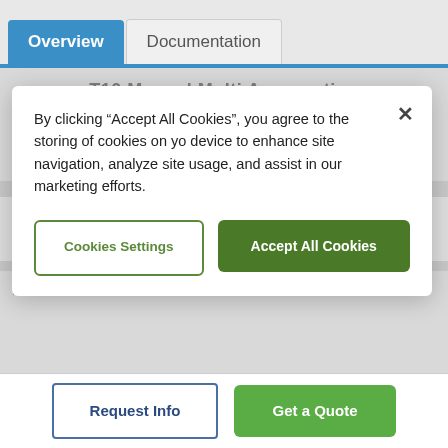Overview | Documentation
T10 Manual Multi Aggregation
Request Your Quote Today
Products & Solutions
By clicking “Accept All Cookies”, you agree to the storing of cookies on your device to enhance site navigation, analyze site usage, and assist in our marketing efforts.
Cookies Settings
Accept All Cookies
Request Info
Get a Quote